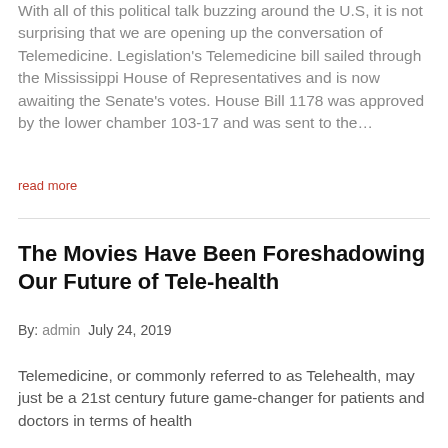With all of this political talk buzzing around the U.S, it is not surprising that we are opening up the conversation of Telemedicine. Legislation's Telemedicine bill sailed through the Mississippi House of Representatives and is now awaiting the Senate's votes. House Bill 1178 was approved by the lower chamber 103-17 and was sent to the...
read more
The Movies Have Been Foreshadowing Our Future of Tele-health
By: admin   July 24, 2019
Telemedicine, or commonly referred to as Telehealth, may just be a 21st century future game-changer for patients and doctors in terms of health